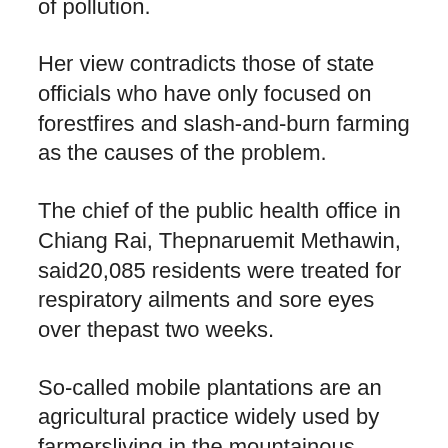participation in dealing with allsources of pollution.
Her view contradicts those of state officials who have only focused on forestfires and slash-and-burn farming as the causes of the problem.
The chief of the public health office in Chiang Rai, Thepnaruemit Methawin, said20,085 residents were treated for respiratory ailments and sore eyes over thepast two weeks.
So-called mobile plantations are an agricultural practice widely used by farmersliving in the mountainous areas in the North, especially those from ethnicminorities who traditionally moved from place to place, from valley to valley,clearing highland areas for plantation, and leaving fields fallow for a seasonor two to regain nutrients.
Such slash and burn agriculture is deemed as a major cause of the smoke and hazeengulfing the northern